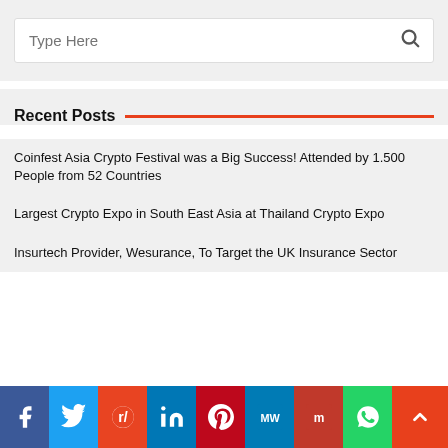Type Here
Recent Posts
Coinfest Asia Crypto Festival was a Big Success! Attended by 1.500 People from 52 Countries
Largest Crypto Expo in South East Asia at Thailand Crypto Expo
Insurtech Provider, Wesurance, To Target the UK Insurance Sector